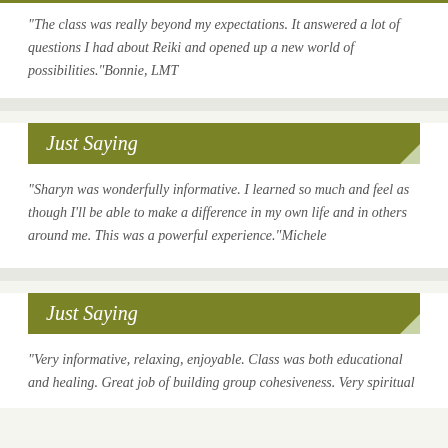“The class was really beyond my expectations. It answered a lot of questions I had about Reiki and opened up a new world of possibilities.” Bonnie, LMT
Just Saying
“Sharyn was wonderfully informative. I learned so much and feel as though I’ll be able to make a difference in my own life and in others around me. This was a powerful experience.” Michele
Just Saying
“Very informative, relaxing, enjoyable. Class was both educational and healing. Great job of building group cohesiveness. Very spiritual